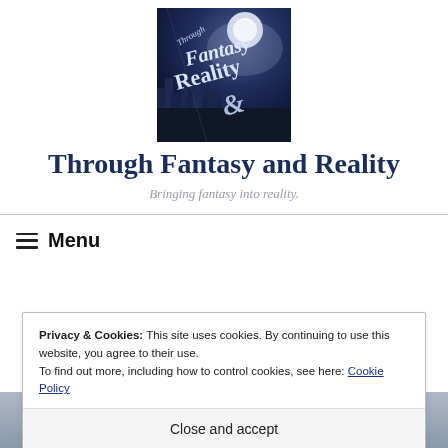[Figure (logo): Through Fantasy and Reality blog logo — dark blue background with moon, city skyline, and stylized text reading 'Through Fantasy & Reality']
Through Fantasy and Reality
Bringing fantasy into reality.
≡  Menu
Privacy & Cookies: This site uses cookies. By continuing to use this website, you agree to their use.
To find out more, including how to control cookies, see here: Cookie Policy
Close and accept